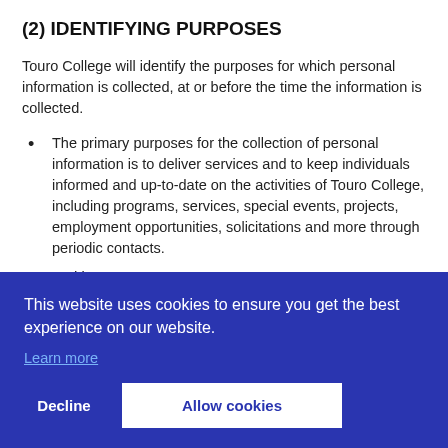(2) IDENTIFYING PURPOSES
Touro College will identify the purposes for which personal information is collected, at or before the time the information is collected.
The primary purposes for the collection of personal information is to deliver services and to keep individuals informed and up-to-date on the activities of Touro College, including programs, services, special events, projects, employment opportunities, solicitations and more through periodic contacts.
[partially obscured by cookie banner] ...cted is ...he
[partially obscured by cookie banner] ...ction ...ether ...ay ...n as a
information throughout Touro College and its related entities for the purpose of employment consideration.
[Figure (other): Cookie consent banner overlay with blue background. Text: 'This website uses cookies to ensure you get the best experience on our website.' with a 'Learn more' link, and two buttons: 'Decline' and 'Allow cookies'.]